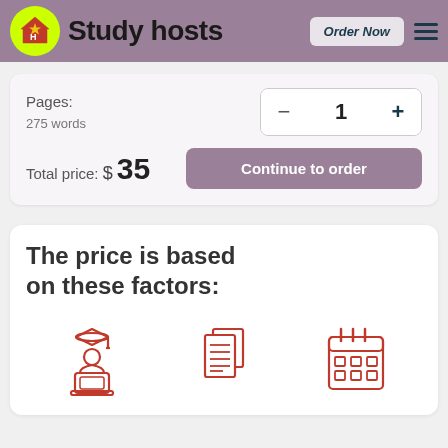Study hosts — Order Now
Pages:
275 words
1
Total price:  $35
Continue to order
The price is based on these factors:
[Figure (illustration): Three red line-art icons representing academic writer, pages/documents, and calendar — factors affecting price]